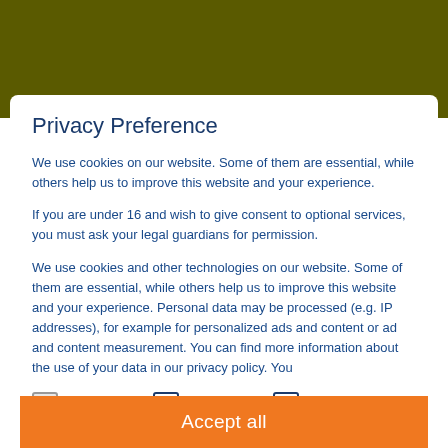Privacy Preference
We use cookies on our website. Some of them are essential, while others help us to improve this website and your experience.
If you are under 16 and wish to give consent to optional services, you must ask your legal guardians for permission.
We use cookies and other technologies on our website. Some of them are essential, while others help us to improve this website and your experience. Personal data may be processed (e.g. IP addresses), for example for personalized ads and content or ad and content measurement. You can find more information about the use of your data in our privacy policy. You
Essential
Statistics
External Media
Accept all